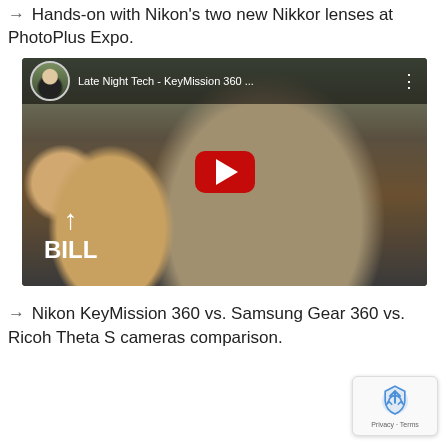→ Hands-on with Nikon's two new Nikkor lenses at PhotoPlus Expo.
[Figure (screenshot): YouTube video embed thumbnail showing 'Late Night Tech - KeyMission 360 ...' with two men in a room, a red YouTube play button in the center, and 'BILL' label with arrow at lower left.]
→ Nikon KeyMission 360 vs. Samsung Gear 360 vs. Ricoh Theta S cameras comparison.
[Figure (logo): Google reCAPTCHA badge with recycling-style icon and 'Privacy · Terms' text]